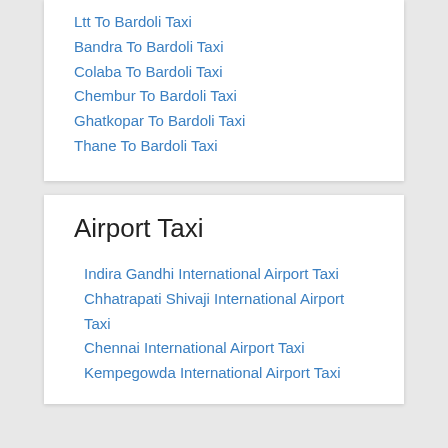Ltt To Bardoli Taxi
Bandra To Bardoli Taxi
Colaba To Bardoli Taxi
Chembur To Bardoli Taxi
Ghatkopar To Bardoli Taxi
Thane To Bardoli Taxi
Airport Taxi
Indira Gandhi International Airport Taxi
Chhatrapati Shivaji International Airport Taxi
Chennai International Airport Taxi
Kempegowda International Airport Taxi